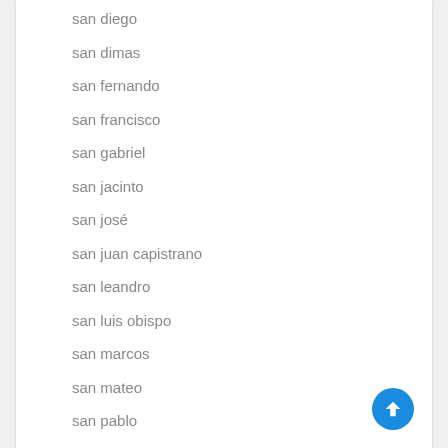san diego
san dimas
san fernando
san francisco
san gabriel
san jacinto
san josé
san juan capistrano
san leandro
san luis obispo
san marcos
san mateo
san pablo